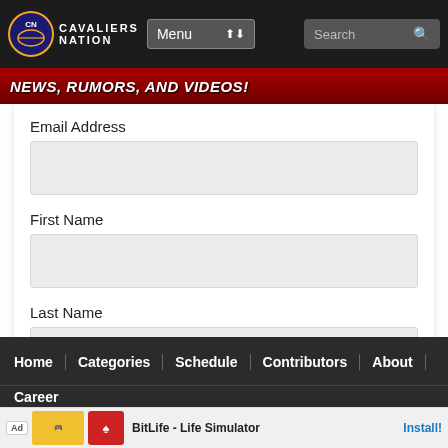[Figure (screenshot): Cavaliers Nation website header with logo, Menu dropdown, and Search bar on dark background]
[Figure (screenshot): Red banner with text NEWS, RUMORS, AND VIDEOS!]
Email Address
First Name
Last Name
Submit
Home | Categories | Schedule | Contributors | About
Career
[Figure (screenshot): Ad banner: BitLife - Life Simulator with Install! button]